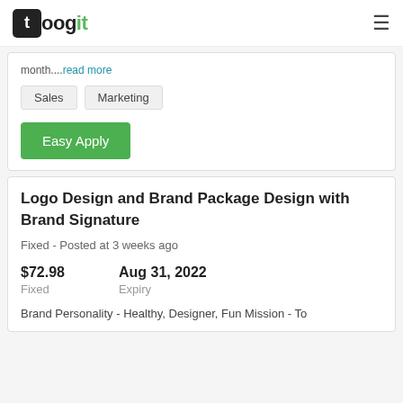toogit
month....read more
Sales
Marketing
Easy Apply
Logo Design and Brand Package Design with Brand Signature
Fixed - Posted at 3 weeks ago
$72.98
Fixed
Aug 31, 2022
Expiry
Brand Personality - Healthy, Designer, Fun Mission - To